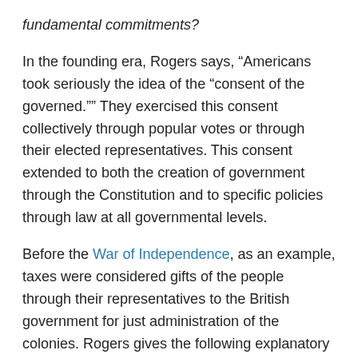fundamental commitments?
In the founding era, Rogers says, “Americans took seriously the idea of the “consent of the governed.”” They exercised this consent collectively through popular votes or through their elected representatives. This consent extended to both the creation of government through the Constitution and to specific policies through law at all governmental levels.
Before the War of Independence, as an example, taxes were considered gifts of the people through their representatives to the British government for just administration of the colonies. Rogers gives the following explanatory illustration,
…A modest tax without consent was objectionable; a high